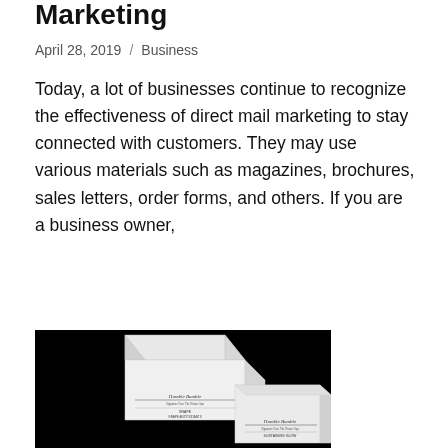Marketing
April 28, 2019  /  Business
Today, a lot of businesses continue to recognize the effectiveness of direct mail marketing to stay connected with customers. They may use various materials such as magazines, brochures, sales letters, order forms, and others. If you are a business owner,
READ MORE
[Figure (photo): Photograph of white folded boxes with 'Humble Bumble' branding on a black background, showing business card-style packaging products.]